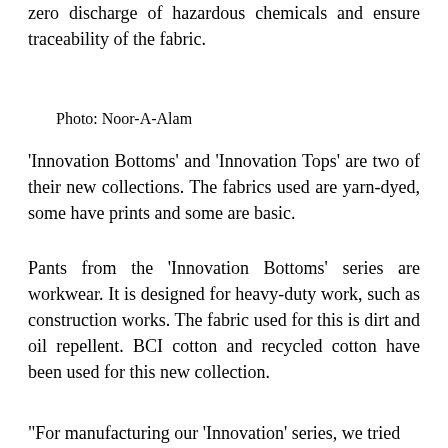zero discharge of hazardous chemicals and ensure traceability of the fabric.
Photo: Noor-A-Alam
'Innovation Bottoms' and 'Innovation Tops' are two of their new collections. The fabrics used are yarn-dyed, some have prints and some are basic.
Pants from the 'Innovation Bottoms' series are workwear. It is designed for heavy-duty work, such as construction works. The fabric used for this is dirt and oil repellent. BCI cotton and recycled cotton have been used for this new collection.
"For manufacturing our 'Innovation' series, we tried